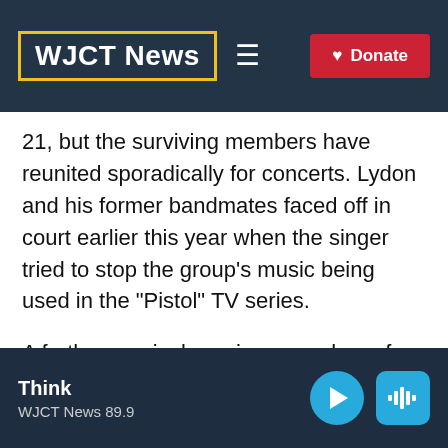WJCT News
21, but the surviving members have reunited sporadically for concerts. Lydon and his former bandmates faced off in court earlier this year when the singer tried to stop the group's music being used in the "Pistol" TV series.
A further musical reunion — perhaps for the queen's 75-year anniversary in 2027 — seems unlikely.
Think WJCT News 89.9